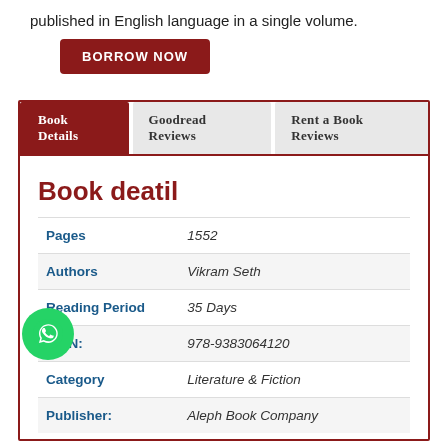published in English language in a single volume.
BORROW NOW
Book Details | Goodread Reviews | Rent a Book Reviews
Book deatil
| Field | Value |
| --- | --- |
| Pages | 1552 |
| Authors | Vikram Seth |
| Reading Period | 35 Days |
| ISBN: | 978-9383064120 |
| Category | Literature & Fiction |
| Publisher: | Aleph Book Company |